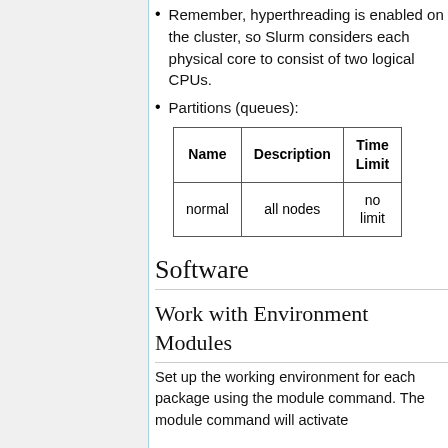Remember, hyperthreading is enabled on the cluster, so Slurm considers each physical core to consist of two logical CPUs.
Partitions (queues):
| Name | Description | Time Limit |
| --- | --- | --- |
| normal | all nodes | no limit |
Software
Work with Environment Modules
Set up the working environment for each package using the module command. The module command will activate